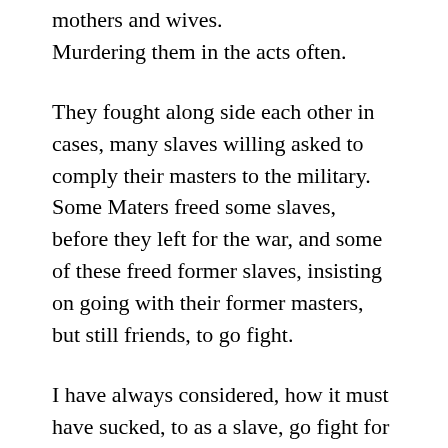mothers and wives.
Murdering them in the acts often.
They fought along side each other in cases, many slaves willing asked to comply their masters to the military.
Some Maters freed some slaves, before they left for the war, and some of these freed former slaves, insisting on going with their former masters, but still friends, to go fight.
I have always considered, how it must have sucked, to as a slave, go fight for your homeland.
But right here, I will again remind any yankee